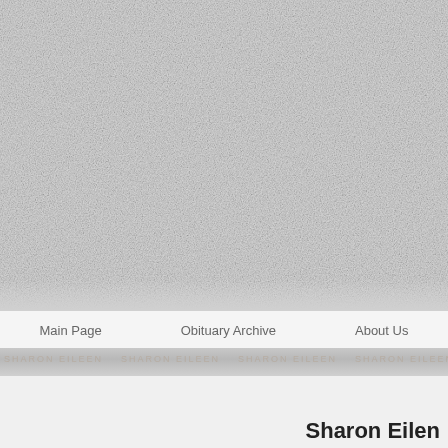[Figure (photo): Grainy textured background image, light grey/white mottled texture resembling stone or paper, spanning the top portion of the page]
Main Page    Obituary Archive    About Us
Sharon Eilen
[Figure (other): Decorative horizontal stripe with faint repeated text pattern, dark grey gradient band]